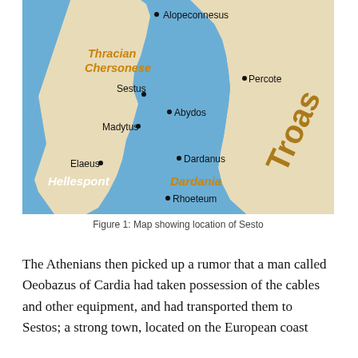[Figure (map): Map showing the Hellespont region with labeled locations: Alopeconnesus, Thracian Chersonese, Percote, Sestus, Abydos, Madytus, Elaeus, Dardanus, Dardania, Rhoeteum, Hellespont, Troas. Blue water bodies contrasted with tan land areas.]
Figure 1: Map showing location of Sesto
The Athenians then picked up a rumor that a man called Oeobazus of Cardia had taken possession of the cables and other equipment, and had transported them to Sestos; a strong town, located on the European coast